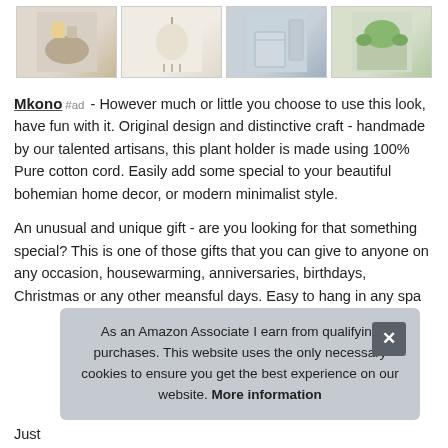[Figure (photo): Four product thumbnail photos in a horizontal strip: woven basket with fabric, white hanging planter, nursery/crib scene, outdoor greenery scene]
Mkono #ad - However much or little you choose to use this look, have fun with it. Original design and distinctive craft - handmade by our talented artisans, this plant holder is made using 100% Pure cotton cord. Easily add some special to your beautiful bohemian home decor, or modern minimalist style.
An unusual and unique gift - are you looking for that something special? This is one of those gifts that you can give to anyone on any occasion, housewarming, anniversaries, birthdays, Christmas or any other meansful days. Easy to hang in any spa
As an Amazon Associate I earn from qualifying purchases. This website uses the only necessary cookies to ensure you get the best experience on our website. More information
Just